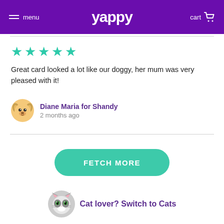menu | yappy | cart
[Figure (other): Five teal star rating icons]
Great card looked a lot like our doggy, her mum was very pleased with it!
Diane Maria for Shandy
2 months ago
[Figure (illustration): FETCH MORE button]
[Figure (illustration): Cat lover? Switch to Cats with cat emoji avatar]